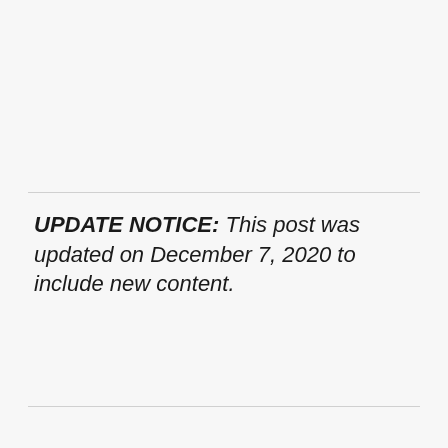UPDATE NOTICE: This post was updated on December 7, 2020 to include new content.